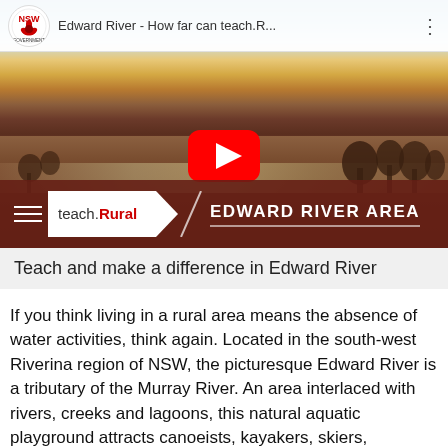[Figure (screenshot): YouTube video thumbnail for 'Edward River - How far can teach.R...' showing a rural landscape at sunset with the teach.Rural and EDWARD RIVER AREA branding at the bottom. NSW Government logo visible in top bar.]
Teach and make a difference in Edward River
If you think living in a rural area means the absence of water activities, think again. Located in the south-west Riverina region of NSW, the picturesque Edward River is a tributary of the Murray River. An area interlaced with rivers, creeks and lagoons, this natural aquatic playground attracts canoeists, kayakers, skiers, swimmers, fishing enthusiasts and bushwalkers.